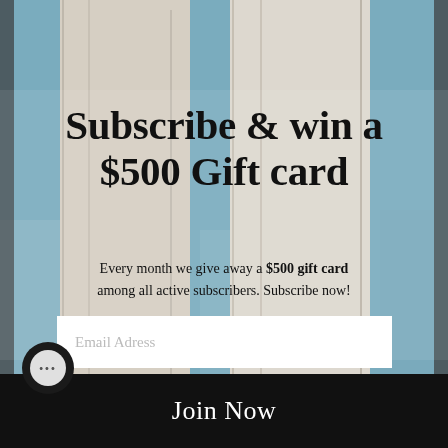[Figure (photo): Background photo of white/cream fabric/clothing with a blue water background, outdoor setting]
Subscribe & win a $500 Gift card
Every month we give away a $500 gift card among all active subscribers. Subscribe now!
Email Adress
Join Now